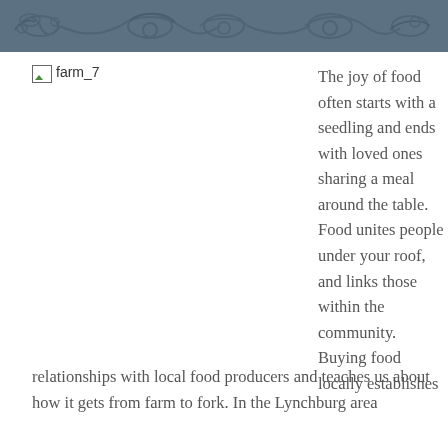[Figure (illustration): Decorative header banner with dark blue-grey background featuring ornate floral/scroll pattern]
[Figure (photo): Image placeholder labeled farm_7]
The joy of food often starts with a seedling and ends with loved ones sharing a meal around the table. Food unites people under your roof, and links those within the community. Buying food locally establishes relationships with local food producers and teaches us about how it gets from farm to fork. In the Lynchburg area